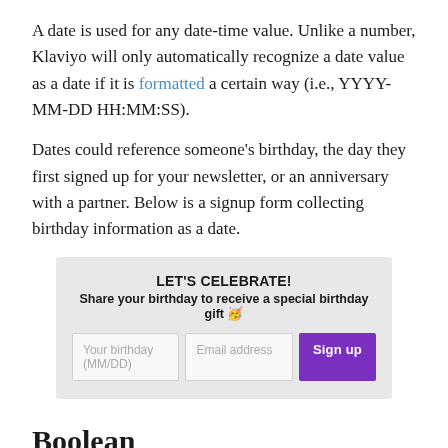A date is used for any date-time value. Unlike a number, Klaviyo will only automatically recognize a date value as a date if it is formatted a certain way (i.e., YYYY-MM-DD HH:MM:SS).
Dates could reference someone's birthday, the day they first signed up for your newsletter, or an anniversary with a partner. Below is a signup form collecting birthday information as a date.
[Figure (screenshot): A signup form widget with gray background. Title: LET'S CELEBRATE! Subtitle: Share your birthday to receive a special birthday gift 🥳. Two input fields: 'Your birthday (MM/DD)' and 'Email address', and a purple 'Sign up' button.]
Boolean
The boolean data type can only represent two values: true or false. An example of boolean data is the property stored